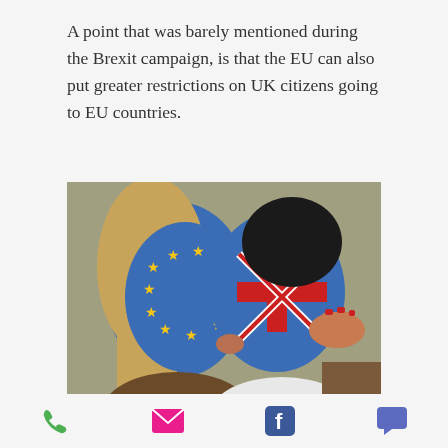A point that was barely mentioned during the Brexit campaign, is that the EU can also put greater restrictions on UK citizens going to EU countries.
[Figure (photo): Two people kissing, one with the EU flag painted on their face (blue with yellow stars) and the other with the UK Union Jack flag painted on their face.]
Phone | Email | Facebook | Chat icons